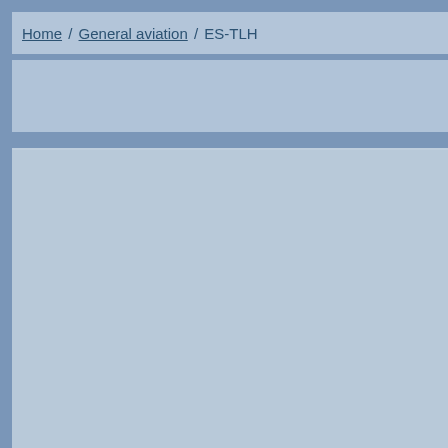Home / General aviation / ES-TLH